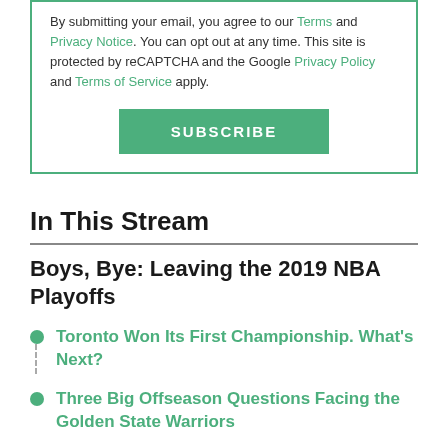By submitting your email, you agree to our Terms and Privacy Notice. You can opt out at any time. This site is protected by reCAPTCHA and the Google Privacy Policy and Terms of Service apply.
SUBSCRIBE
In This Stream
Boys, Bye: Leaving the 2019 NBA Playoffs
Toronto Won Its First Championship. What's Next?
Three Big Offseason Questions Facing the Golden State Warriors
VIEW ALL 15 STORIES